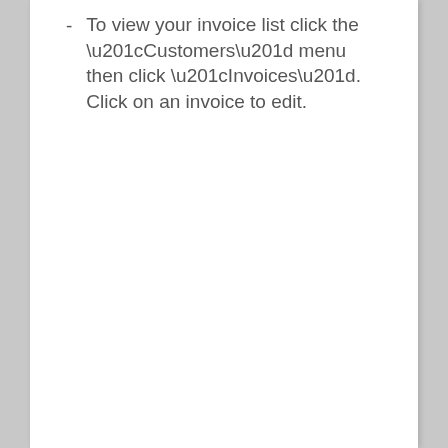To view your invoice list click the “Customers” menu then click “Invoices”. Click on an invoice to edit.